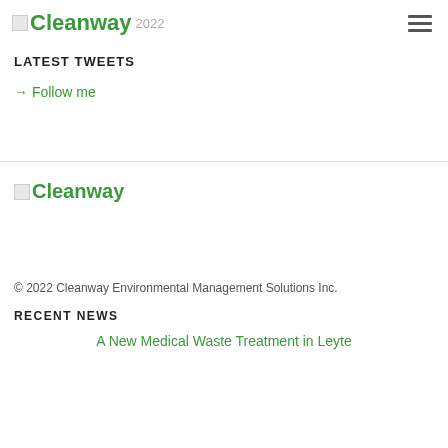[Figure (logo): Cleanway logo with image placeholder icon and green text, with year 2022]
[Figure (other): Hamburger menu icon (three horizontal lines)]
LATEST TWEETS
→ Follow me
[Figure (logo): Cleanway footer logo with image placeholder icon and green text]
© 2022 Cleanway Environmental Management Solutions Inc.
RECENT NEWS
A New Medical Waste Treatment in Leyte